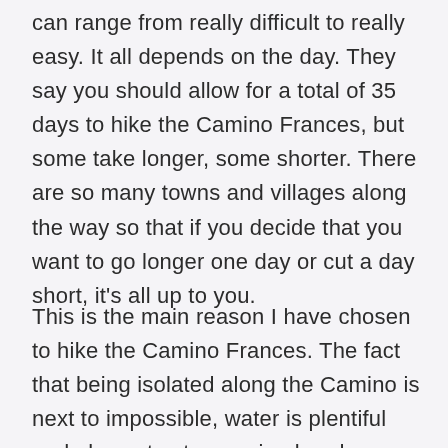can range from really difficult to really easy. It all depends on the day. They say you should allow for a total of 35 days to hike the Camino Frances, but some take longer, some shorter. There are so many towns and villages along the way so that if you decide that you want to go longer one day or cut a day short, it's all up to you.
This is the main reason I have chosen to hike the Camino Frances. The fact that being isolated along the Camino is next to impossible, water is plentiful and places to stay are in abundance makes this an ideal place to spend a month or two right after I